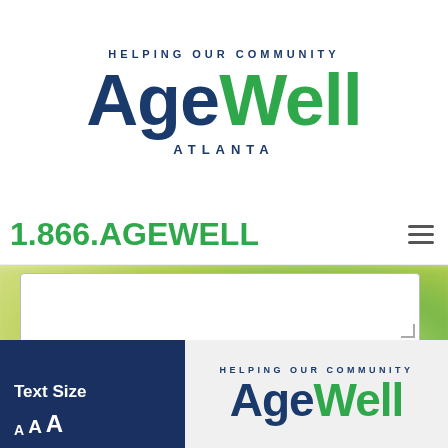[Figure (logo): AgeWell Atlanta logo with tagline HELPING OUR COMMUNITY, Age in dark navy, Well in green, ATLANTA in navy tracking spaced]
1.866.AGEWELL
[Figure (screenshot): Web page screenshot showing a text area input box and a green rounded SEND button over a blurred green/yellow background]
[Figure (screenshot): Bottom portion showing a dark navy footer with Text Size label and AAA text size controls, plus repeated AgeWell Atlanta logo with HELPING OUR COMMUNITY tagline]